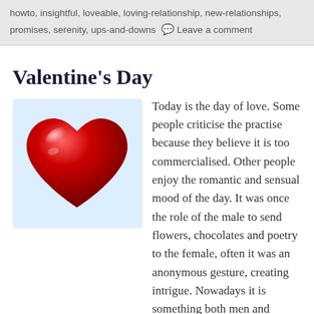howto, insightful, loveable, loving-relationship, new-relationships, promises, serenity, ups-and-downs  💬 Leave a comment
Valentine's Day
[Figure (illustration): A shiny red 3D heart illustration on a light blue/white background]
Today is the day of love. Some people criticise the practise because they believe it is too commercialised. Other people enjoy the romantic and sensual mood of the day. It was once the role of the male to send flowers, chocolates and poetry to the female, often it was an anonymous gesture, creating intrigue. Nowadays it is something both men and women do for each other. It is a ritual that enhances relationships. Unless both partners dislike celebrating the day of love, then it is worthwhile to participate in the celebration.